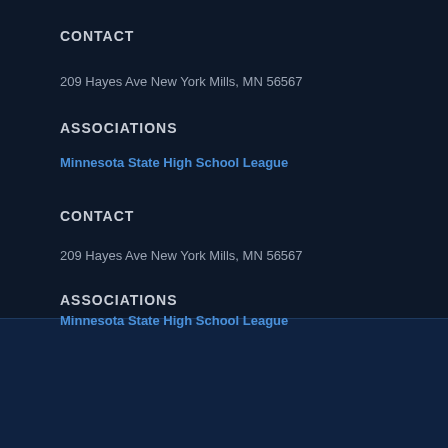CONTACT
209 Hayes Ave New York Mills, MN 56567
ASSOCIATIONS
Minnesota State High School League
CONTACT
209 Hayes Ave New York Mills, MN 56567
ASSOCIATIONS
Minnesota State High School League
NFHS NETWORK Powered by PlayOn! Sports | FOLLOW US ON | Facebook | Twitter | Instagram | YouTube